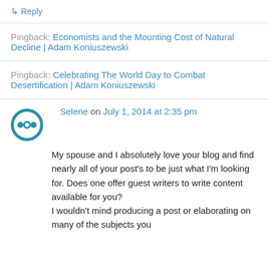↳ Reply
Pingback: Economists and the Mounting Cost of Natural Decline | Adam Koniuszewski
Pingback: Celebrating The World Day to Combat Desertification | Adam Koniuszewski
Selene on July 1, 2014 at 2:35 pm
My spouse and I absolutely love your blog and find nearly all of your post's to be just what I'm looking for. Does one offer guest writers to write content available for you? I wouldn't mind producing a post or elaborating on many of the subjects you